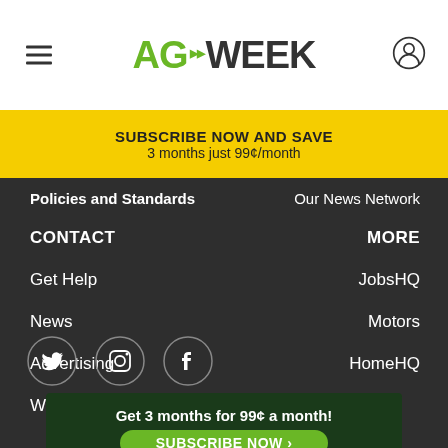AGWEEK
SUBSCRIBE NOW AND SAVE
3 months just 99¢/month
Policies and Standards
Our News Network
CONTACT
MORE
Get Help
JobsHQ
News
Motors
Advertising
HomeHQ
Work with Us
[Figure (infographic): Social media icons: Twitter, Instagram, Facebook]
Get 3 months for 99¢ a month!
SUBSCRIBE NOW ›